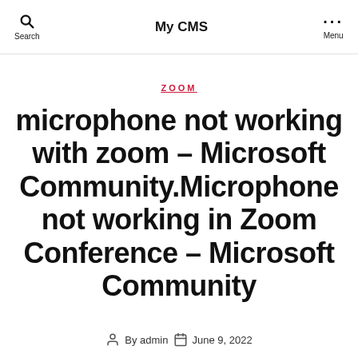My CMS — Search / Menu
ZOOM
microphone not working with zoom – Microsoft Community.Microphone not working in Zoom Conference – Microsoft Community
By admin   June 9, 2022